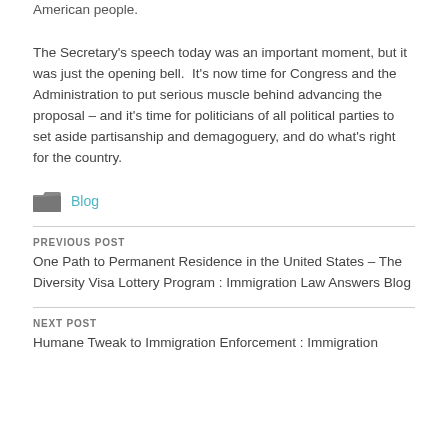American people.
The Secretary's speech today was an important moment, but it was just the opening bell.  It's now time for Congress and the Administration to put serious muscle behind advancing the proposal – and it's time for politicians of all political parties to set aside partisanship and demagoguery, and do what's right for the country.
Blog
PREVIOUS POST
One Path to Permanent Residence in the United States – The Diversity Visa Lottery Program : Immigration Law Answers Blog
NEXT POST
Humane Tweak to Immigration Enforcement : Immigration